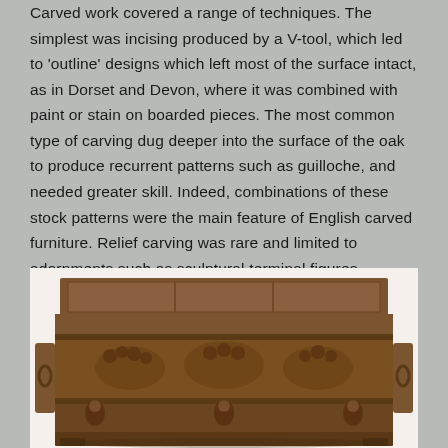Carved work covered a range of techniques. The simplest was incising produced by a V-tool, which led to 'outline' designs which left most of the surface intact, as in Dorset and Devon, where it was combined with paint or stain on boarded pieces. The most common type of carving dug deeper into the surface of the oak to produce recurrent patterns such as guilloche, and needed greater skill. Indeed, combinations of these stock patterns were the main feature of English carved furniture. Relief carving was rare and limited to adornments such as sculptural terminal figures, whereas on the Continent furniture with sculpted scenes could be found.
[Figure (photo): A heavily carved oak chest or coffer with ornate relief carvings including figural terminal figures, foliage, and decorative grotesque motifs across the front panels. The piece has a flat panelled lid and appears to be of English or Continental origin from the 16th or 17th century.]